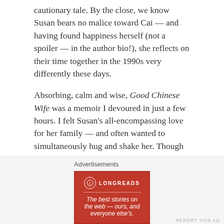cautionary tale. By the close, we know Susan bears no malice toward Cai — and having found happiness herself (not a spoiler — in the author bio!), she reflects on their time together in the 1990s very differently these days.
Absorbing, calm and wise, Good Chinese Wife was a memoir I devoured in just a few hours. I felt Susan's all-encompassing love for her family — and often wanted to simultaneously hug and shake her. Though readers may question her decisions (sometimes I did, too), Susan bravely shares her story in the hope, I think, of inspiring others to stand up for themselves and their families. It's a thought-provoking memoir, and one I recommend.
Advertisements
[Figure (logo): Longreads advertisement banner: red background with Longreads logo and tagline 'The best stories on the web — ours, and everyone else's.']